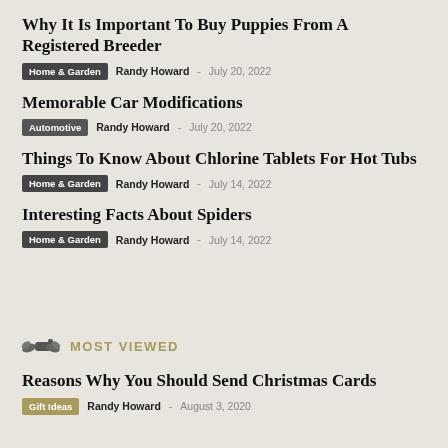Why It Is Important To Buy Puppies From A Registered Breeder
Home & Garden  Randy Howard  July 20, 2022
Memorable Car Modifications
Automotive  Randy Howard  July 20, 2022
Things To Know About Chlorine Tablets For Hot Tubs
Home & Garden  Randy Howard  July 14, 2022
Interesting Facts About Spiders
Home & Garden  Randy Howard  July 14, 2022
MOST VIEWED
Reasons Why You Should Send Christmas Cards
Gift Ideas  Randy Howard  - August 3, 2020